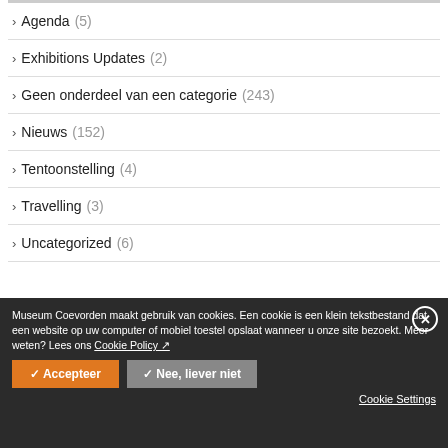> Agenda (5)
> Exhibitions Updates (2)
> Geen onderdeel van een categorie (243)
> Nieuws (152)
> Tentoonstelling (4)
> Travelling (3)
> Uncategorized (6)
Museum Coevorden maakt gebruik van cookies. Een cookie is een klein tekstbestand dat een website op uw computer of mobiel toestel opslaat wanneer u onze site bezoekt. Meer weten? Lees ons Cookie Policy
Accepteer
Nee, liever niet
Cookie Settings